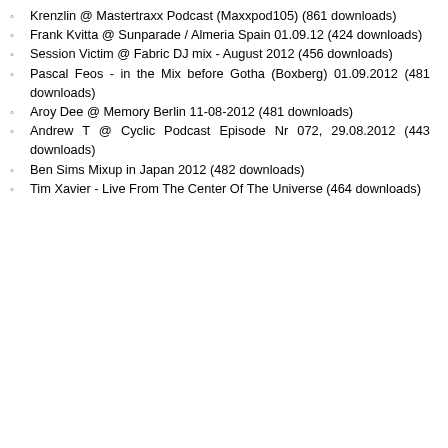Krenzlin @ Mastertraxx Podcast (Maxxpod105) (861 downloads)
Frank Kvitta @ Sunparade / Almeria Spain 01.09.12 (424 downloads)
Session Victim @ Fabric DJ mix - August 2012 (456 downloads)
Pascal Feos - in the Mix before Gotha (Boxberg) 01.09.2012 (481 downloads)
Aroy Dee @ Memory Berlin 11-08-2012 (481 downloads)
Andrew T @ Cyclic Podcast Episode Nr 072, 29.08.2012 (443 downloads)
Ben Sims Mixup in Japan 2012 (482 downloads)
Tim Xavier - Live From The Center Of The Universe (464 downloads)